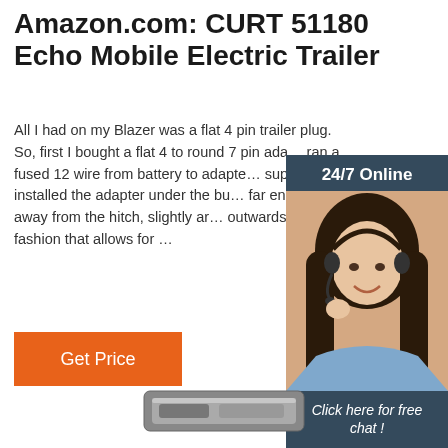Amazon.com: CURT 51180 Echo Mobile Electric Trailer
All I had on my Blazer was a flat 4 pin trailer plug. So, first I bought a flat 4 to round 7 pin ada… ran a fused 12 wire from battery to adapte… supply. I installed the adapter under the bu… far enough away from the hitch, slightly ar… outwards, in a fashion that allows for …
[Figure (infographic): Customer service chat widget overlay with '24/7 Online' header, photo of woman with headset, 'Click here for free chat!' text, and orange QUOTATION button]
Get Price
[Figure (photo): Partial product image of CURT 51180 trailer brake controller device at bottom of page]